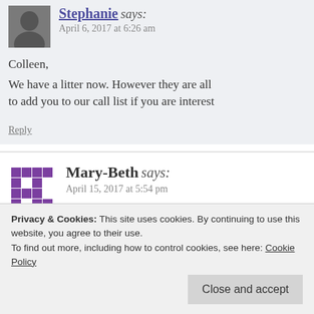Stephanie says: April 6, 2017 at 6:26 am
Colleen, We have a litter now. However they are all to add you to our call list if you are interest
Reply
Mary-Beth says: April 15, 2017 at 5:54 pm
Met Dublin the Golden today with his Mom's states he
Privacy & Cookies: This site uses cookies. By continuing to use this website, you agree to their use. To find out more, including how to control cookies, see here: Cookie Policy
Close and accept